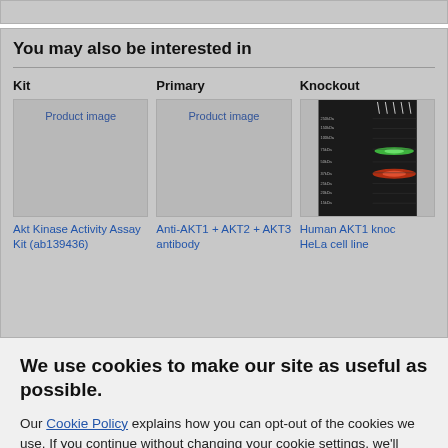You may also be interested in
Kit
[Figure (photo): Product image placeholder for Akt Kinase Activity Assay Kit (ab139436)]
Primary
[Figure (photo): Product image placeholder for Anti-AKT1 + AKT2 + AKT3 antibody]
Knockout
[Figure (photo): Western blot product image for Human AKT1 knockout HeLa cell line, showing green and red fluorescent bands]
Akt Kinase Activity Assay Kit (ab139436)
Anti-AKT1 + AKT2 + AKT3 antibody
Human AKT1 knockout HeLa cell line
We use cookies to make our site as useful as possible.
Our Cookie Policy explains how you can opt-out of the cookies we use. If you continue without changing your cookie settings, we'll assume you're happy with this.
Accept All Cookies